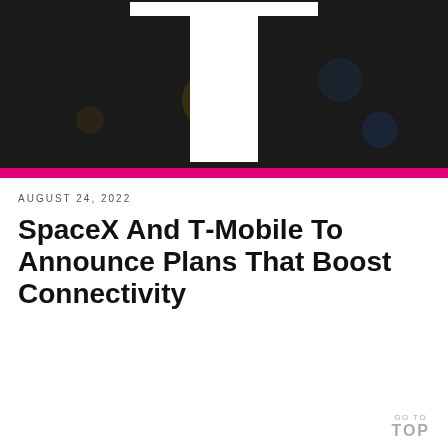[Figure (photo): T-Mobile store logo sign — large white letter T on dark background with pink horizontal stripe at bottom]
AUGUST 24, 2022
SpaceX And T-Mobile To Announce Plans That Boost Connectivity
GO TO TOP